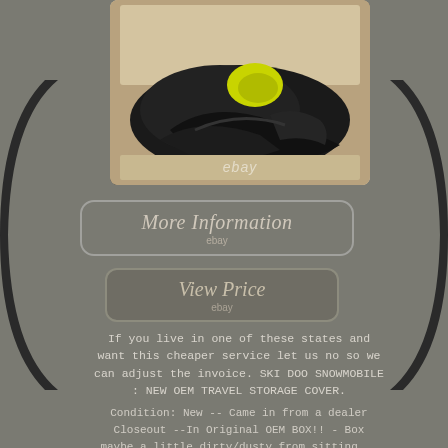[Figure (photo): A black snowmobile travel/storage cover folded inside a box, with yellow accents visible, in a cardboard box. eBay watermark visible.]
[Figure (screenshot): Button graphic reading 'More Information' with 'ebay' below it, rounded rectangle with gray border]
[Figure (screenshot): Button graphic reading 'View Price' with 'ebay' below it, rounded rectangle with gray background]
If you live in one of these states and want this cheaper service let us no so we can adjust the invoice. SKI DOO SNOWMOBILE : NEW OEM TRAVEL STORAGE COVER.
Condition: New -- Came in from a dealer Closeout --In Original OEM BOX!! - Box maybe a little dirty/dusty from sitting...